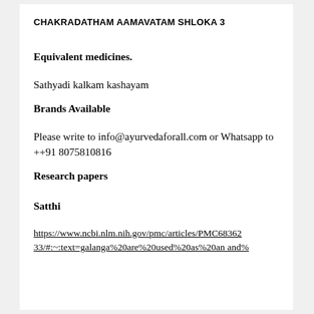CHAKRADATHAM AAMAVATAM SHLOKA 3
Equivalent medicines.
Sathyadi kalkam kashayam
Brands Available
Please write to info@ayurvedaforall.com or Whatsapp to ++91 8075810816
Research papers
Satthi
https://www.ncbi.nlm.nih.gov/pmc/articles/PMC68362 33/#:~:text=galanga%20are%20used%20as%20an and%